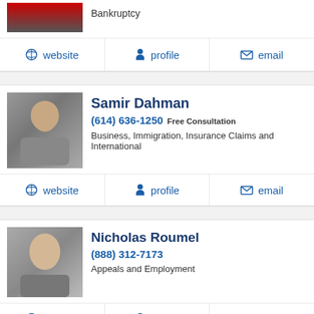Bankruptcy
website  profile  email
Samir Dahman
(614) 636-1250 Free Consultation
Business, Immigration, Insurance Claims and International
website  profile  email
Nicholas Roumel
(888) 312-7173
Appeals and Employment
website  profile  email